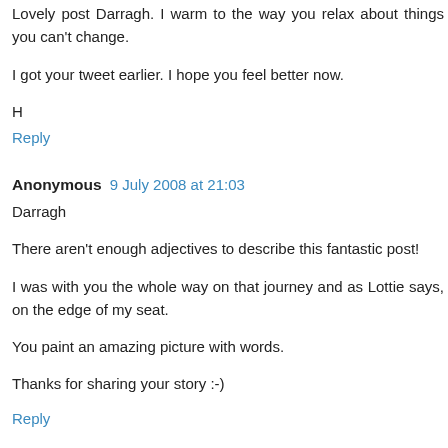Lovely post Darragh. I warm to the way you relax about things you can't change.
I got your tweet earlier. I hope you feel better now.
H
Reply
Anonymous 9 July 2008 at 21:03
Darragh
There aren't enough adjectives to describe this fantastic post!
I was with you the whole way on that journey and as Lottie says, on the edge of my seat.
You paint an amazing picture with words.
Thanks for sharing your story :-)
Reply